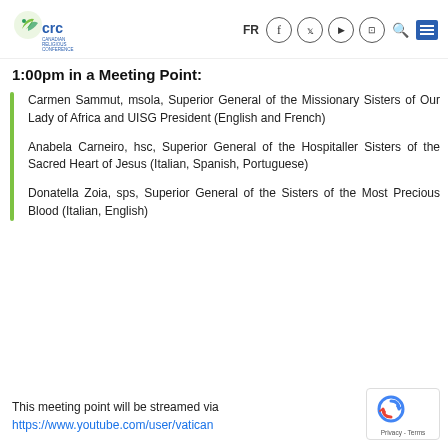CRC Canadian Religious Conference — FR [navigation icons]
1:00pm in a Meeting Point:
Carmen Sammut, msola, Superior General of the Missionary Sisters of Our Lady of Africa and UISG President (English and French)
Anabela Carneiro, hsc, Superior General of the Hospitaller Sisters of the Sacred Heart of Jesus (Italian, Spanish, Portuguese)
Donatella Zoia, sps, Superior General of the Sisters of the Most Precious Blood (Italian, English)
This meeting point will be streamed via https://www.youtube.com/user/vatican